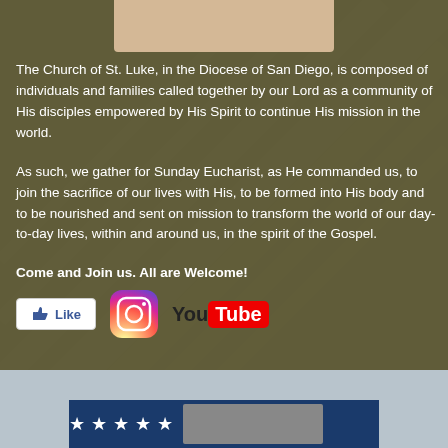[Figure (photo): Beige/tan colored image at top center of page, partially visible]
The Church of St. Luke, in the Diocese of San Diego, is composed of individuals and families called together by our Lord as a community of His disciples empowered by His Spirit to continue His mission in the world.
As such, we gather for Sunday Eucharist, as He commanded us, to join the sacrifice of our lives with His, to be formed into His body and to be nourished and sent on mission to transform the world of our day-to-day lives, within and around us, in the spirit of the Gospel.
Come and Join us. All are Welcome!
[Figure (logo): Facebook Like button, Instagram logo, and YouTube logo displayed side by side]
[Figure (photo): Bottom strip showing what appears to be a flag with stars, partially visible]